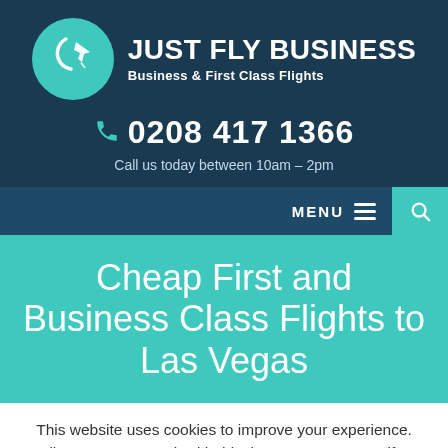[Figure (logo): Just Fly Business logo with teal circle containing a stylized 'J' and airplane silhouette, with brand name 'JUST FLY BUSINESS' and tagline 'Business & First Class Flights']
0208 417 1366
Call us today between 10am – 2pm
MENU
Cheap First and Business Class Flights to Las Vegas
This website uses cookies to improve your experience. We'll assume you're ok with this, but you can opt-out if you wish.
Leave a message